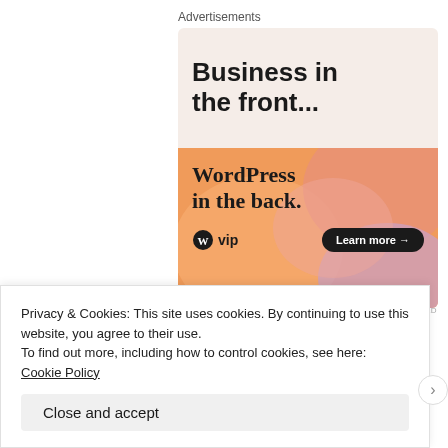Advertisements
[Figure (illustration): WordPress VIP advertisement with two sections: top beige section with bold text 'Business in the front...' and bottom colorful gradient section (orange, pink, purple) with 'WordPress in the back.' text, WordPress W logo with 'vip' text, and a 'Learn more →' button on dark rounded rectangle.]
REPORT THIS AD
Propagate this:
Privacy & Cookies: This site uses cookies. By continuing to use this website, you agree to their use.
To find out more, including how to control cookies, see here: Cookie Policy
Close and accept